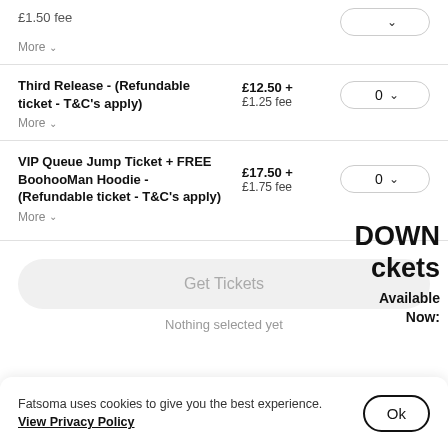£1.50 fee
More
Third Release - (Refundable ticket - T&C's apply)
£12.50 + £1.25 fee
0
More
VIP Queue Jump Ticket + FREE BoohooMan Hoodie - (Refundable ticket - T&C's apply)
£17.50 + £1.75 fee
0
More
Get Tickets
Nothing selected yet
Fatsoma uses cookies to give you the best experience. View Privacy Policy
Ok
DOWN
ckets
Available Now: